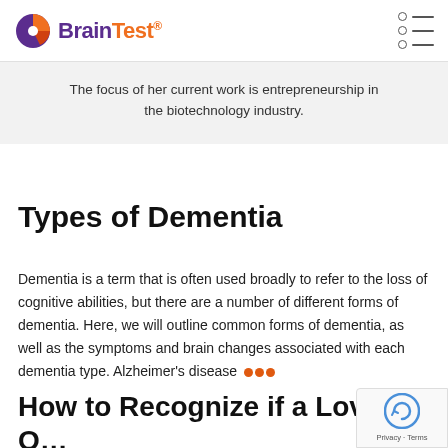BrainTest® [logo]
The focus of her current work is entrepreneurship in the biotechnology industry.
Types of Dementia
Dementia is a term that is often used broadly to refer to the loss of cognitive abilities, but there are a number of different forms of dementia. Here, we will outline common forms of dementia, as well as the symptoms and brain changes associated with each dementia type. Alzheimer's disease •••
How to Recognize if a Loved O… Needs Alzheimer's Screening